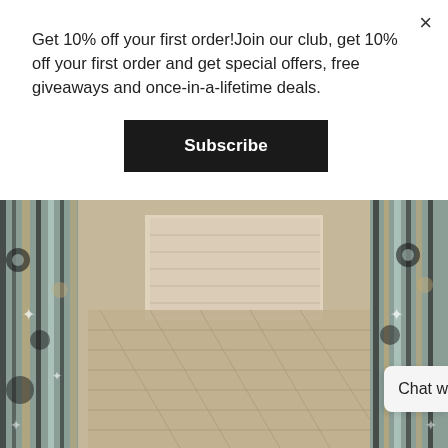[Figure (photo): Overhead view of a patterned bed with matching curtains/drapes featuring a dark botanical/geometric print on light blue/white background, with neutral toned bedding]
Get 10% off your first order!Join our club, get 10% off your first order and get special offers, free giveaways and once-in-a-lifetime deals.
Subscribe
Chat w